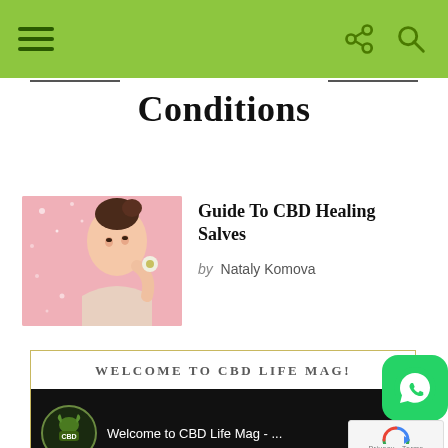Conditions
[Figure (photo): Article thumbnail showing a woman touching her face with a flower, pink glitter background]
Guide To CBD Healing Salves
by Nataly Komova
WELCOME TO CBD LIFE MAG!
[Figure (screenshot): YouTube video player showing 'Welcome to CBD Life Mag - ...' with CBD Life Mag logo]